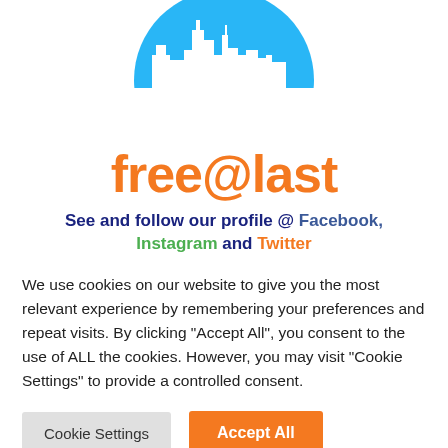[Figure (logo): free@last logo with city skyline silhouette in blue semicircle with dark navy and green accents on top]
free@last
See and follow our profile @ Facebook, Instagram and Twitter
We use cookies on our website to give you the most relevant experience by remembering your preferences and repeat visits. By clicking "Accept All", you consent to the use of ALL the cookies. However, you may visit "Cookie Settings" to provide a controlled consent.